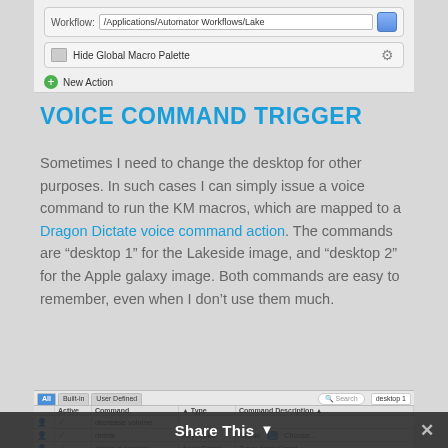[Figure (screenshot): Screenshot of an Automator/Keyboard Maestro workflow interface showing a workflow path '/Applications/Automator Workflows/Lake...' and a 'Hide Global Macro Palette' action with a gear icon, plus a green '+' New Action button]
VOICE COMMAND TRIGGER
Sometimes I need to change the desktop for other purposes. In such cases I can simply issue a voice command to run the KM macros, which are mapped to a Dragon Dictate voice command action. The commands are “desktop 1” for the Lakeside image, and “desktop 2” for the Apple galaxy image. Both commands are easy to remember, even when I don’t use them much.
[Figure (screenshot): Screenshot of a Dragon Dictate voice commands list showing columns: All/Built-in/User Defined tabs, search field, 'desktop 1' input, with rows showing commands including 'decrease volume', 'delete', 'delete n open(s)' with Type: AppleScript]
Share This